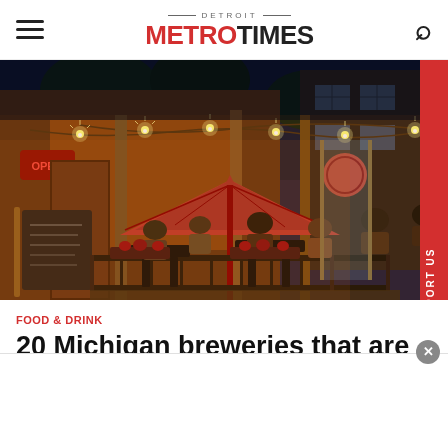Detroit Metro Times
[Figure (photo): Outdoor brewery patio at night with string lights, red umbrella, people dining, wooden building exterior, chalkboard sign reading OPEN]
FOOD & DRINK
20 Michigan breweries that are worth the